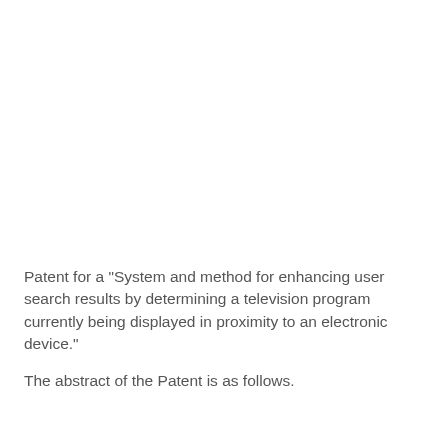Patent for a "System and method for enhancing user search results by determining a television program currently being displayed in proximity to an electronic device."
The abstract of the Patent is as follows.